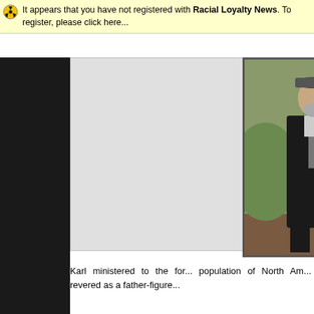It appears that you have not registered with Racial Loyalty News. To register, please click here...
[Figure (photo): A man in a dark suit and cap speaking at a podium or lectern outdoors, with green shrubbery in the background. Watermark reads 'creativityalliance' in the bottom right corner.]
Karl ministered to the for... population of North Am... revered as a father-figure...